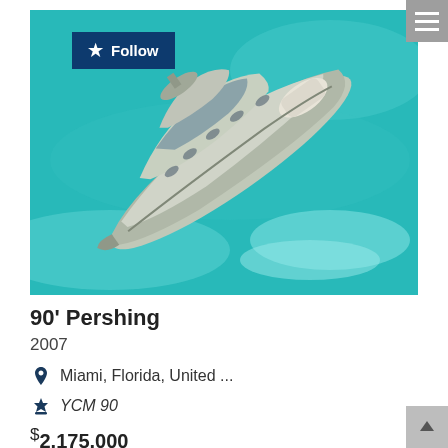[Figure (photo): Aerial view of a large luxury motor yacht on turquoise water, silver/grey hull, with a Follow button overlay in upper left]
90' Pershing
2007
Miami, Florida, United ...
YCM 90
$2,175,000